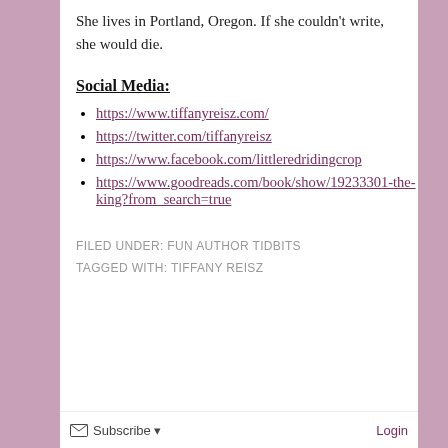She lives in Portland, Oregon. If she couldn't write, she would die.
Social Media:
https://www.tiffanyreisz.com/
https://twitter.com/tiffanyreisz
https://www.facebook.com/littleredridingcrop
https://www.goodreads.com/book/show/19233301-the-king?from_search=true
FILED UNDER: FUN AUTHOR TIDBITS
TAGGED WITH: TIFFANY REISZ
Subscribe  Login